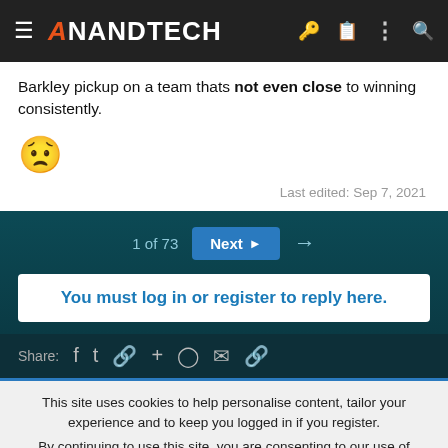AnandTech
Barkley pickup on a team thats not even close to winning consistently.
[Figure (other): Sad face emoji 😟]
Last edited: Sep 7, 2021
1 of 73
Next
You must log in or register to reply here.
Share:
This site uses cookies to help personalise content, tailor your experience and to keep you logged in if you register. By continuing to use this site, you are consenting to our use of cookies.